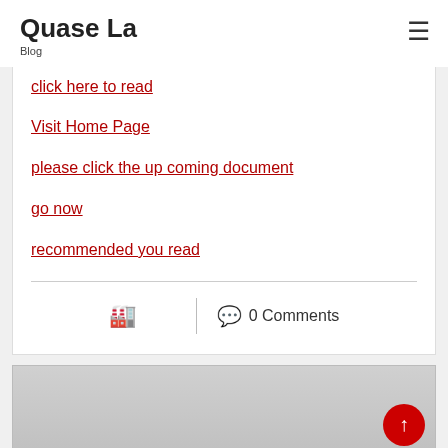Quase La
Blog
click here to read
Visit Home Page
please click the up coming document
go now
recommended you read
0 Comments
[Figure (screenshot): Bottom of page with a gray/cloudy image partially visible and a red back-to-top arrow button in the lower right]